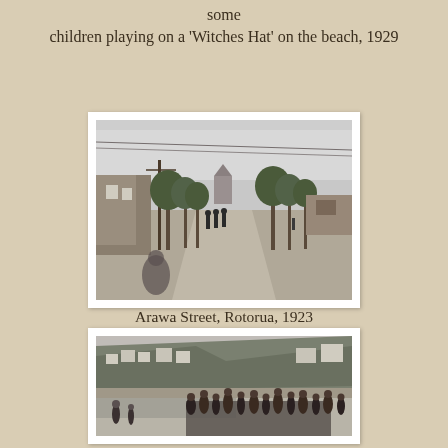some
children playing on a 'Witches Hat' on the beach, 1929
[Figure (photo): Black and white photograph of Arawa Street, Rotorua, 1923. Wide unpaved street with trees lining both sides, figures walking in the middle distance, buildings on left, a church visible in background.]
Arawa Street, Rotorua, 1923
[Figure (photo): Black and white photograph of a busy beach scene with many children and people, hillside with houses in background, 1929.]